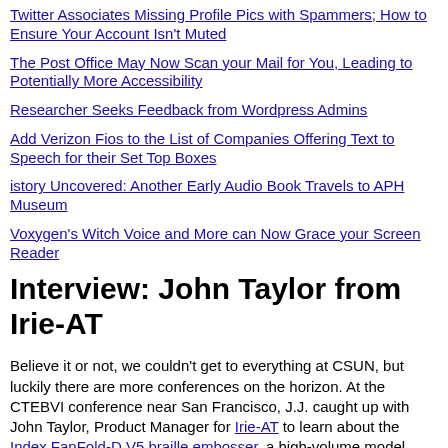Twitter Associates Missing Profile Pics with Spammers; How to Ensure Your Account Isn't Muted
The Post Office May Now Scan your Mail for You, Leading to Potentially More Accessibility
Researcher Seeks Feedback from Wordpress Admins
Add Verizon Fios to the List of Companies Offering Text to Speech for their Set Top Boxes
istory Uncovered: Another Early Audio Book Travels to APH Museum
Voxygen's Witch Voice and More can Now Grace your Screen Reader
Interview: John Taylor from Irie-AT
Believe it or not, we couldn't get to everything at CSUN, but luckily there are more conferences on the horizon. At the CTEBVI conference near San Francisco, J.J. caught up with John Taylor, Product Manager for Irie-AT to learn about the Index FanFold-D V5 braille embosser, a high-volume model designed for production use with…